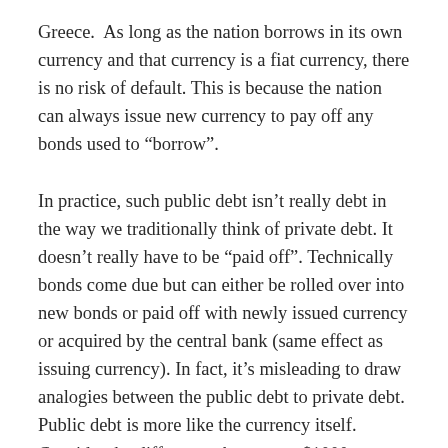Greece.  As long as the nation borrows in its own currency and that currency is a fiat currency, there is no risk of default. This is because the nation can always issue new currency to pay off any bonds used to “borrow”.
In practice, such public debt isn’t really debt in the way we traditionally think of private debt. It doesn’t really have to be “paid off”. Technically bonds come due but can either be rolled over into new bonds or paid off with newly issued currency or acquired by the central bank (same effect as issuing currency). In fact, it’s misleading to draw analogies between the public debt to private debt. Public debt is more like the currency itself. Consider the differences between a $1000 government bond and a $1000 note. Both represent commitments from the government to provide $1000 worth of value